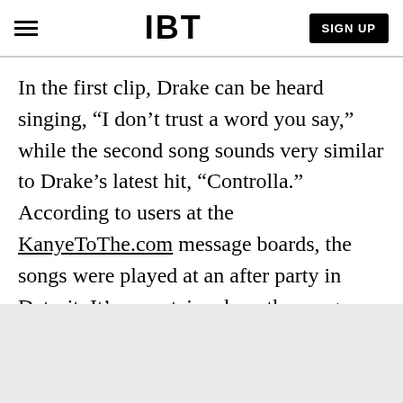IBT | SIGN UP
In the first clip, Drake can be heard singing, “I don’t trust a word you say,” while the second song sounds very similar to Drake’s latest hit, “Controlla.” According to users at the KanyeToThe.com message boards, the songs were played at an after party in Detroit. It’s uncertain where the songs come from but there are a few possibilities.